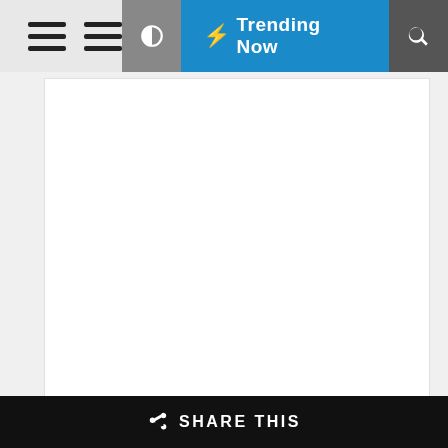≡ ≡  ◑  ⚡ Trending Now  🔍
Buy on Lazada | Buy on Shopee
Advertise Here
◀ SHARE THIS